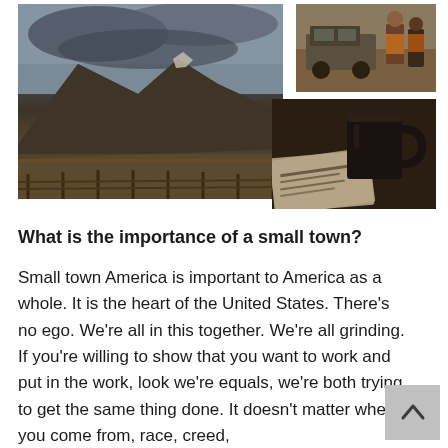[Figure (photo): Landscape photo of a mountain with dark cloudy sky, featuring wooden fence in foreground, dry scrubby terrain, brownish-grey tones]
[Figure (photo): Photo of people near a military-style jeep/vehicle in an arid outdoor setting, warm brown tones]
[Figure (photo): Photo of a dark mug and a newspaper/document on a wooden table surface, warm brown tones]
What is the importance of a small town?
Small town America is important to America as a whole. It is the heart of the United States. There's no ego. We're all in this together. We're all grinding. If you're willing to show that you want to work and put in the work, look we're equals, we're both trying to get the same thing done. It doesn't matter where you come from, race, creed,